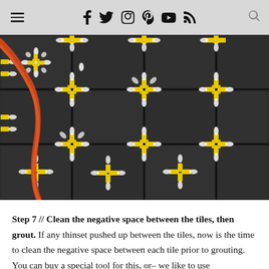≡  f  ✓  ⊙  ⊕  ▶  ⊃  🔍
[Figure (photo): Overhead view of dark tiles being laid with yellow tile spacers/leveling clips at tile corners, forming a grid pattern with decorative white flower motifs at intersections. An orange cable runs diagonally across the upper-left portion of the image.]
Step 7 // Clean the negative space between the tiles, then grout. If any thinset pushed up between the tiles, now is the time to clean the negative space between each tile prior to grouting. You can buy a special tool for this, or– we like to use